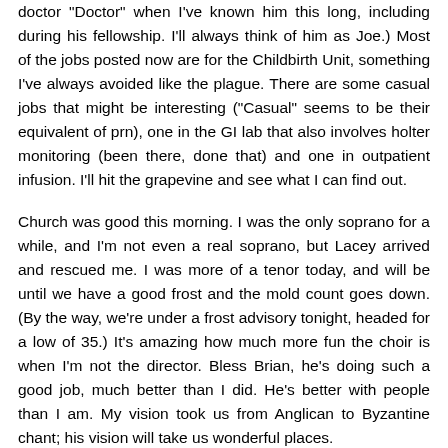doctor "Doctor" when I've known him this long, including during his fellowship. I'll always think of him as Joe.) Most of the jobs posted now are for the Childbirth Unit, something I've always avoided like the plague. There are some casual jobs that might be interesting ("Casual" seems to be their equivalent of prn), one in the GI lab that also involves holter monitoring (been there, done that) and one in outpatient infusion. I'll hit the grapevine and see what I can find out.
Church was good this morning. I was the only soprano for a while, and I'm not even a real soprano, but Lacey arrived and rescued me. I was more of a tenor today, and will be until we have a good frost and the mold count goes down. (By the way, we're under a frost advisory tonight, headed for a low of 35.) It's amazing how much more fun the choir is when I'm not the director. Bless Brian, he's doing such a good job, much better than I did. He's better with people than I am. My vision took us from Anglican to Byzantine chant; his vision will take us wonderful places.
I was looking at Father during the Liturgy, and realized his beard is almost completely white now. It was darker when he